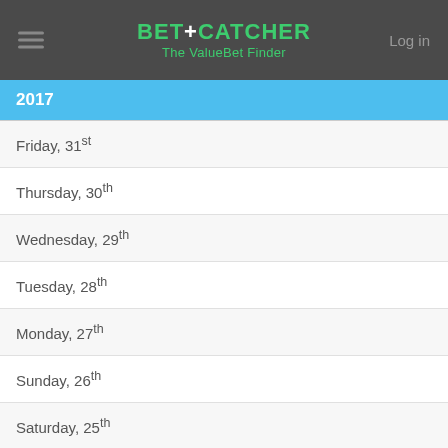BET+CATCHER The ValueBet Finder Log in
2017
Friday, 31st
Thursday, 30th
Wednesday, 29th
Tuesday, 28th
Monday, 27th
Sunday, 26th
Saturday, 25th
Friday, 24th
Thursday, 23rd
Wednesday, 22nd
Tuesday, 21st
Monday, 20th